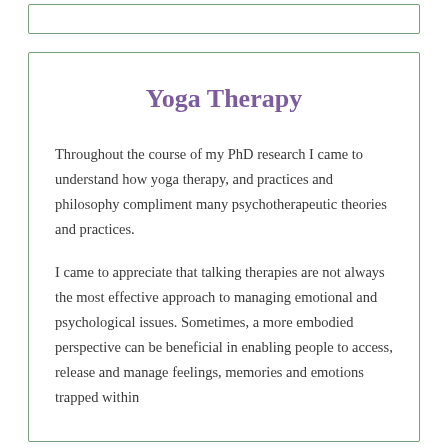Yoga Therapy
Throughout the course of my PhD research I came to understand how yoga therapy, and practices and philosophy compliment many psychotherapeutic theories and practices.
I came to appreciate that talking therapies are not always the most effective approach to managing emotional and psychological issues. Sometimes, a more embodied perspective can be beneficial in enabling people to access, release and manage feelings, memories and emotions trapped within